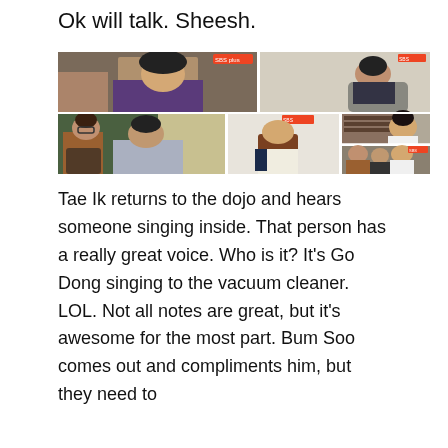Ok will talk. Sheesh.
[Figure (photo): A collage of video screenshots from a Korean TV show (SBS Plus) showing multiple scenes: top left shows a man in a purple sweater reading; top right shows a man in dark clothes sitting in a chair; bottom left shows two women and a man seated; bottom center shows a woman with long brown hair; bottom right shows scenes with a woman in a bookshelf setting and a group scene.]
Tae Ik returns to the dojo and hears someone singing inside. That person has a really great voice. Who is it? It's Go Dong singing to the vacuum cleaner. LOL. Not all notes are great, but it's awesome for the most part. Bum Soo comes out and compliments him, but they need to